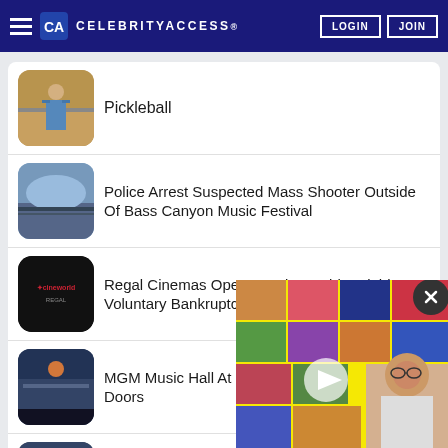CELEBRITYACCESS
Pickleball
Police Arrest Suspected Mass Shooter Outside Of Bass Canyon Music Festival
Regal Cinemas Operator Cineworld Weighing Voluntary Bankruptcy
MGM Music Hall At Fenway Officially Opens Its Doors
Fetty Wap Pleads G... Charges, Faces Up...
[Figure (screenshot): Video overlay with yellow background showing a person and album art collage, with play button and close (X) button]